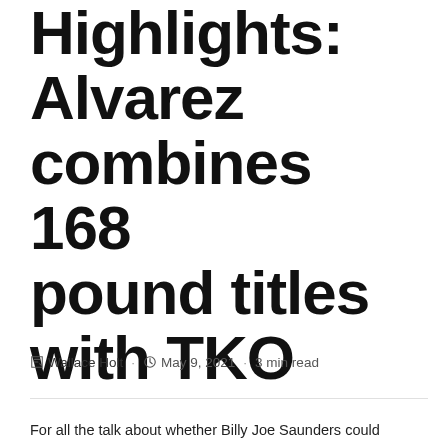Results, Highlights: Alvarez combines 168 pound titles with TKO
Wallace Holt · May 9, 2021 · 3 min read
For all the talk about whether Billy Joe Saunders could